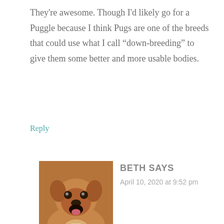They're awesome. Though I'd likely go for a Puggle because I think Pugs are one of the breeds that could use what I call “down-breeding” to give them some better and more usable bodies.
Reply
[Figure (photo): Avatar photo of a puggle dog with mouth open, looking at camera, warm brown tones]
BETH SAYS
April 10, 2020 at 9:52 pm